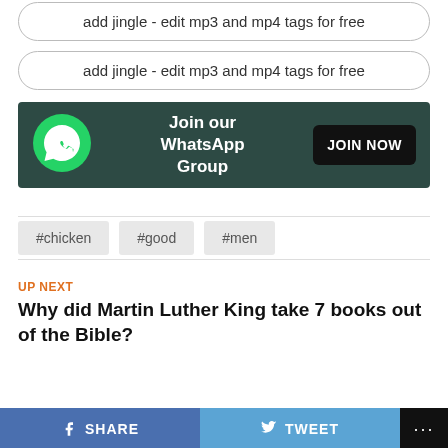add jingle - edit mp3 and mp4 tags for free
add jingle - edit mp3 and mp4 tags for free
[Figure (infographic): WhatsApp group join banner with green WhatsApp logo on dark teal background, text 'Join our WhatsApp Group' and black 'JOIN NOW' button]
#chicken
#good
#men
UP NEXT
Why did Martin Luther King take 7 books out of the Bible?
SHARE   TWEET   ...